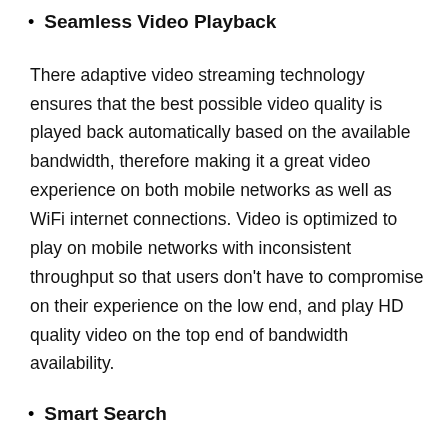Seamless Video Playback
There adaptive video streaming technology ensures that the best possible video quality is played back automatically based on the available bandwidth, therefore making it a great video experience on both mobile networks as well as WiFi internet connections. Video is optimized to play on mobile networks with inconsistent throughput so that users don't have to compromise on their experience on the low end, and play HD quality video on the top end of bandwidth availability.
Smart Search
Content search on Disney+ Hotstar has been optimized to reduce complexity and delay in accessing content. Accurate search results, with lightning fast autocomplete suggestions navigate users to video with minimal navigation friction and